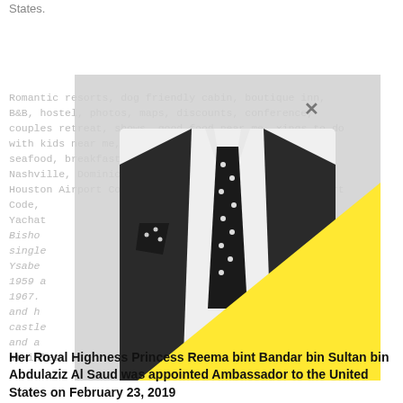States.
Romantic resorts, dog friendly cabin, boutique inn, B&B, hostel, photos, maps, discounts, conference, couples retreat, shows, good food near me, things to do with kids near me, weather, airport, vegetarian, seafood, breakfast near me, indoor, outlet mall: Nashville, Dominican Republic, Dallas Airport Code, Houston Airport Code, Tampa, John Wayne, Miami Airport Code, Yachats, Bishop, to single, Ysabel, in 1959 and in 1967, itself and his the castle, ches, and a stainless steel plates.
[Figure (photo): Black and white photo of a man in a suit with a polka dot tie and pocket square, overlaid with a bright yellow triangle shape. A grey overlay panel with an X close button is also visible.]
Her Royal Highness Princess Reema bint Bandar bin Sultan bin Abdulaziz Al Saud was appointed Ambassador to the United States on February 23, 2019